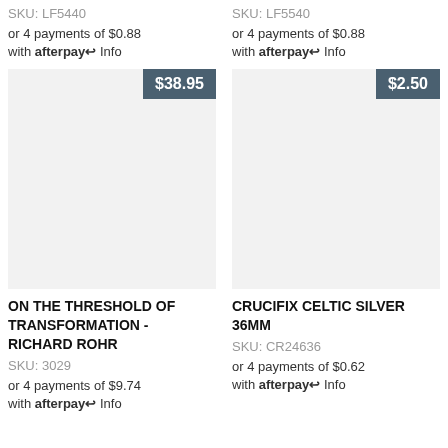FLORIAN
SEBASTIAN
SKU: LF5440
SKU: LF5540
or 4 payments of $0.88 with afterpay Info
or 4 payments of $0.88 with afterpay Info
[Figure (other): Product image placeholder for ON THE THRESHOLD OF TRANSFORMATION - RICHARD ROHR, price $38.95]
[Figure (other): Product image placeholder for CRUCIFIX CELTIC SILVER 36mm, price $2.50]
ON THE THRESHOLD OF TRANSFORMATION - RICHARD ROHR
CRUCIFIX CELTIC SILVER 36mm
SKU: 3029
SKU: CR24636
or 4 payments of $9.74 with afterpay Info
or 4 payments of $0.62 with afterpay Info